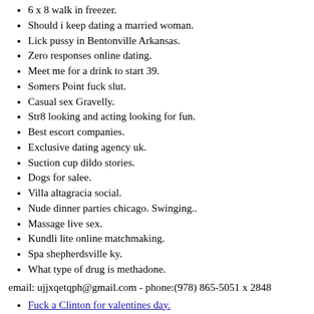6 x 8 walk in freezer.
Should i keep dating a married woman.
Lick pussy in Bentonville Arkansas.
Zero responses online dating.
Meet me for a drink to start 39.
Somers Point fuck slut.
Casual sex Gravelly.
Str8 looking and acting looking for fun.
Best escort companies.
Exclusive dating agency uk.
Suction cup dildo stories.
Dogs for salee.
Villa altagracia social.
Nude dinner parties chicago. Swinging..
Massage live sex.
Kundli lite online matchmaking.
Spa shepherdsville ky.
What type of drug is methadone.
email: ujjxqetqph@gmail.com - phone:(978) 865-5051 x 2848
Fuck a Clinton for valentines day.
Create a chat room.
Comment arreter de fumer de la resine de cannabis.
I want to chat with new friends.